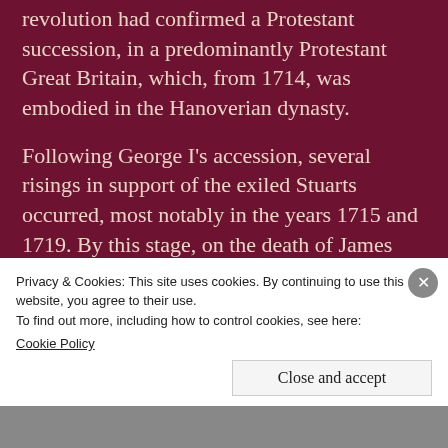revolution had confirmed a Protestant succession, in a predominantly Protestant Great Britain, which, from 1714, was embodied in the Hanoverian dynasty.
Following George I's accession, several risings in support of the exiled Stuarts occurred, most notably in the years 1715 and 1719. By this stage, on the death of James VII and II in 1701, the chief claimant (or 'old pretender') was his only legitimate son (and father of Charles) James Francis Edward
Privacy & Cookies: This site uses cookies. By continuing to use this website, you agree to their use.
To find out more, including how to control cookies, see here:
Cookie Policy
Close and accept